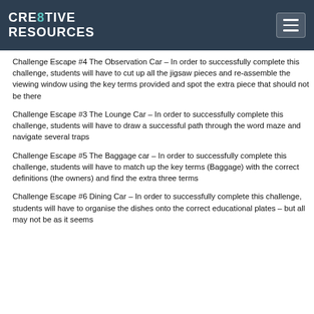CRE8TIVE RESOURCES
Challenge Escape #4 The Observation Car – In order to successfully complete this challenge, students will have to cut up all the jigsaw pieces and re-assemble the viewing window using the key terms provided and spot the extra piece that should not be there
Challenge Escape #3 The Lounge Car – In order to successfully complete this challenge, students will have to draw a successful path through the word maze and navigate several traps
Challenge Escape #5 The Baggage car – In order to successfully complete this challenge, students will have to match up the key terms (Baggage) with the correct definitions (the owners) and find the extra three terms
Challenge Escape #6 Dining Car – In order to successfully complete this challenge, students will have to organise the dishes onto the correct educational plates – but all may not be as it seems